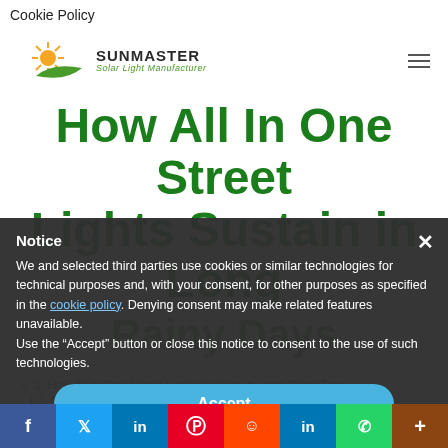Cookie Policy
[Figure (logo): Sunmaster Solar Light Manufacturer logo with sun and green leaf icon]
How All In One Street Lights Sustain in Long Rainy Days
Notice
We and selected third parties use cookies or similar technologies for technical purposes and, with your consent, for other purposes as specified in the cookie policy. Denying consent may make related features unavailable.
Use the "Accept" button or close this notice to consent to the use of such technologies.
Accept
Learn more and customize
1. How All In One Street Lights Sustain in Long Rainy Days
1.1. Smart All In One Solar Street Lights Use Lithium Battery